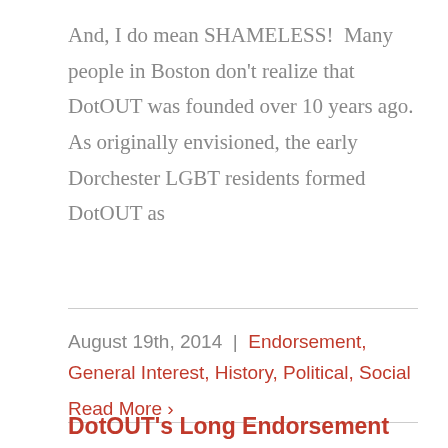And, I do mean SHAMELESS!  Many people in Boston don't realize that DotOUT was founded over 10 years ago. As originally envisioned, the early Dorchester LGBT residents formed DotOUT as
August 19th, 2014  |  Endorsement, General Interest, History, Political, Social
Read More ›
DotOUT's Long Endorsement